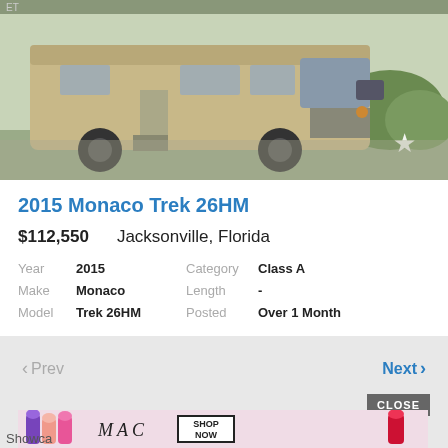[Figure (photo): Photo of a 2015 Monaco Trek 26HM Class A motorhome RV, beige/gold colored, parked outdoors on gravel with greenery in the background. A white star/bookmark icon is in the upper right corner of the photo.]
2015 Monaco Trek 26HM
$112,550    Jacksonville, Florida
| Year | 2015 | Category | Class A |
| Make | Monaco | Length | - |
| Model | Trek 26HM | Posted | Over 1 Month |
< Prev    Next >
CLOSE
[Figure (photo): MAC cosmetics advertisement banner showing lipsticks in purple, pink, coral colors with MAC logo and SHOP NOW button.]
Showca...